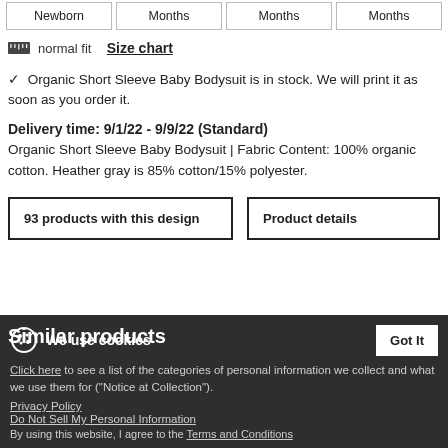Newborn
Months
Months
Months
normal fit  Size chart
✓ Organic Short Sleeve Baby Bodysuit is in stock. We will print it as soon as you order it.
Delivery time: 9/1/22 - 9/9/22 (Standard)
Organic Short Sleeve Baby Bodysuit | Fabric Content: 100% organic cotton. Heather gray is 85% cotton/15% polyester.
93 products with this design
Product details
Similar products
We use cookies
Click here to see a list of the categories of personal information we collect and what we use them for ("Notice at Collection").
Privacy Policy
Do Not Sell My Personal Information
By using this website, I agree to the Terms and Conditions